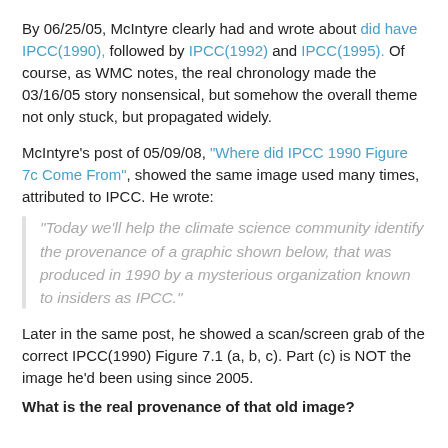By 06/25/05, McIntyre clearly had and wrote about did have IPCC(1990), followed by IPCC(1992) and IPCC(1995). Of course, as WMC notes, the real chronology made the 03/16/05 story nonsensical, but somehow the overall theme not only stuck, but propagated widely.
McIntyre's post of 05/09/08, "Where did IPCC 1990 Figure 7c Come From", showed the same image used many times, attributed to IPCC. He wrote:
"Today we'll help the climate science community identify the provenance of a graphic shown below, that was produced in 1990 by a mysterious organization known to insiders as IPCC."
Later in the same post, he showed a scan/screen grab of the correct IPCC(1990) Figure 7.1 (a, b, c). Part (c) is NOT the image he'd been using since 2005.
What is the real provenance of that old image?